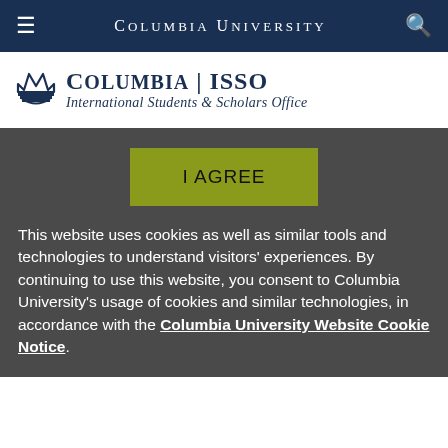Columbia University
[Figure (logo): Columbia University ISSO - International Students & Scholars Office logo with crown icon]
I AGREE
This website uses cookies as well as similar tools and technologies to understand visitors' experiences. By continuing to use this website, you consent to Columbia University's usage of cookies and similar technologies, in accordance with the Columbia University Website Cookie Notice.